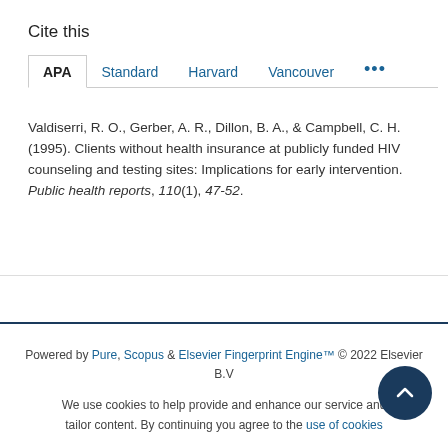Cite this
APA | Standard | Harvard | Vancouver | ...
Valdiserri, R. O., Gerber, A. R., Dillon, B. A., & Campbell, C. H. (1995). Clients without health insurance at publicly funded HIV counseling and testing sites: Implications for early intervention. Public health reports, 110(1), 47-52.
Powered by Pure, Scopus & Elsevier Fingerprint Engine™ © 2022 Elsevier B.V
We use cookies to help provide and enhance our service and tailor content. By continuing you agree to the use of cookies
About web accessibility